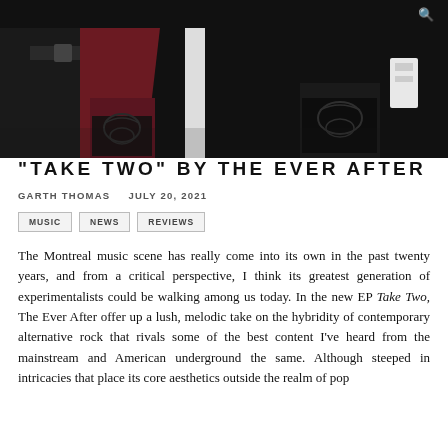[Figure (photo): Close-up photo of two people wearing ornate formal jackets — one in dark burgundy/maroon with black embroidered cuffs, another in black with decorative white accessories]
“TAKE TWO” BY THE EVER AFTER
GARTH THOMAS   JULY 20, 2021
MUSIC
NEWS
REVIEWS
The Montreal music scene has really come into its own in the past twenty years, and from a critical perspective, I think its greatest generation of experimentalists could be walking among us today. In the new EP Take Two, The Ever After offer up a lush, melodic take on the hybridity of contemporary alternative rock that rivals some of the best content I've heard from the mainstream and American underground the same. Although steeped in intricacies that place its core aesthetics outside the realm of pop